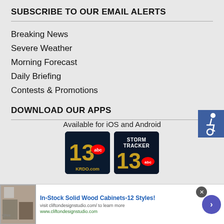SUBSCRIBE TO OUR EMAIL ALERTS
Breaking News
Severe Weather
Morning Forecast
Daily Briefing
Contests & Promotions
DOWNLOAD OUR APPS
Available for iOS and Android
[Figure (logo): KRDO 13 abc KRDO.com app icon on dark background]
[Figure (logo): Storm Tracker 13 abc app icon on dark background]
[Figure (illustration): Accessibility icon (wheelchair symbol) on blue background]
[Figure (infographic): Advertisement banner: In-Stock Solid Wood Cabinets-12 Styles! visit cliftondesignstudio.com/ to learn more. www.cliftondesignstudio.com]